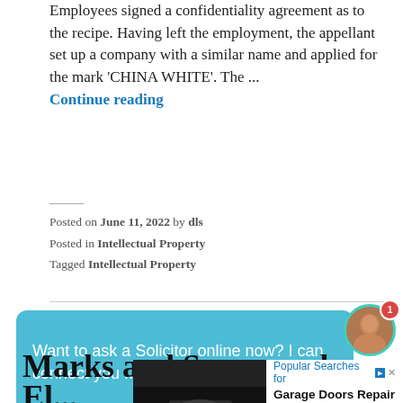Employees signed a confidentiality agreement as to the recipe. Having left the employment, the appellant set up a company with a similar name and applied for the mark 'CHINA WHITE'. The ... Continue reading
Posted on June 11, 2022 by dls
Posted in Intellectual Property
Tagged Intellectual Property
[Figure (screenshot): Chat widget with teal background reading 'Want to ask a Solicitor online now? I can connect you ...' with a circular avatar photo of a woman and a red badge with '1']
Marks and Spencer plc, El...
[Figure (photo): Advertisement showing a garage door with a hand holding a remote control, with text 'Popular Searches for Garage Doors Repair Near Me' and 'Ad' label]